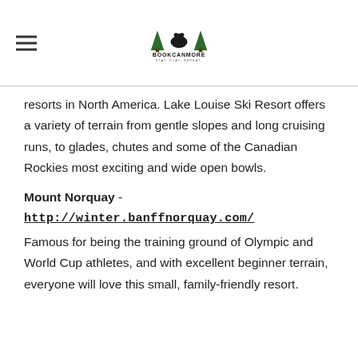BOOKCANMORE — STAY. PLAY. REPEAT.
resorts in North America. Lake Louise Ski Resort offers a variety of terrain from gentle slopes and long cruising runs, to glades, chutes and some of the Canadian Rockies most exciting and wide open bowls.
Mount Norquay -
http://winter.banffnorquay.com/
Famous for being the training ground of Olympic and World Cup athletes, and with excellent beginner terrain, everyone will love this small, family-friendly resort.